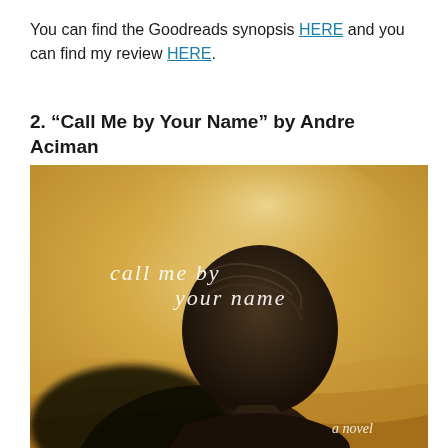You can find the Goodreads synopsis HERE and you can find my review HERE.
2. "Call Me by Your Name" by Andre Aciman
[Figure (illustration): Book cover of 'Call Me by Your Name' by Andre Aciman. Sepia-toned image of the back of a person's head against a warm golden background. White italic text reads 'call me by your name' in the upper portion and 'a novel' in the lower right corner.]